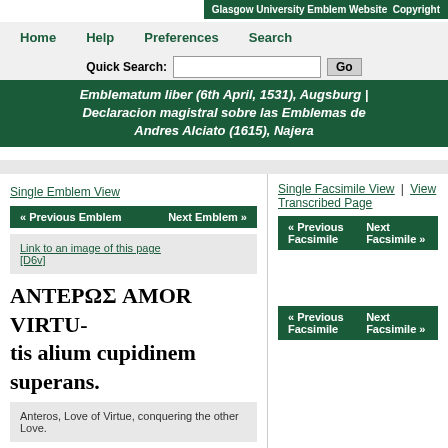Glasgow University Emblem Website  Copyright
Home  Help  Preferences  Search
Quick Search:  [input]  Go
Emblematum liber (6th April, 1531), Augsburg | Declaracion magistral sobre las Emblemas de Andres Alciato (1615), Najera
Single Emblem View
« Previous Emblem    Next Emblem »
Link to an image of this page  [D6v]
ΑΝΤΕΡΩΣ AMOR VIRTU-
tis alium cupidinem superans.
Anteros, Love of Virtue, conquering the other Love.
[Click on image to enlarge]
Aligerum aligeroque invicem
Single Facsimile View | View Transcribed Page
« Previous Facsimile    Next Facsimile »
« Previous Facsimile    Next Facsimile »